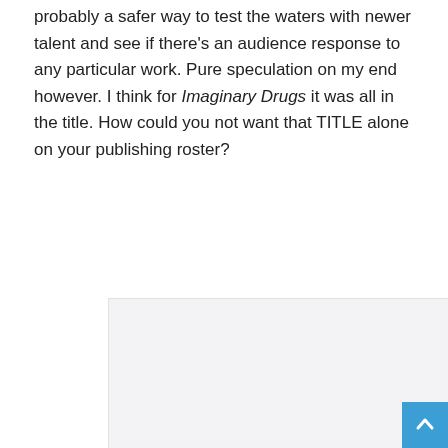probably a safer way to test the waters with newer talent and see if there's an audience response to any particular work. Pure speculation on my end however.  I think for Imaginary Drugs it was all in the title.  How could you not want that TITLE alone on your publishing roster?
[Figure (other): A large light gray rectangular placeholder image area below the text block.]